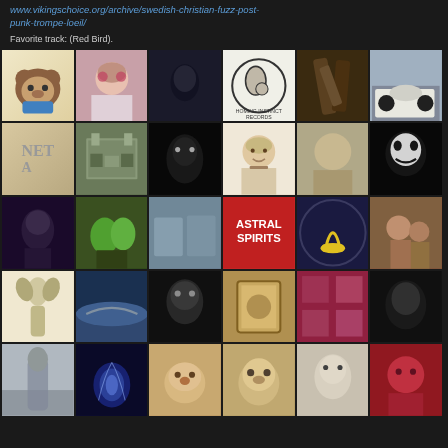www.vikingschoice.org/archive/swedish-christian-fuzz-post-punk-trompe-loeil/
Favorite track: 红鸟 (Red Bird).
[Figure (photo): Grid of 30 user avatar thumbnails in a 6x5 layout on dark background. Row 1: cartoon bear character, person with sunglasses, dark blurry figure, Homing Instinct Records logo, furry creature, white car. Row 2: NET text art, old building, dark gothic figure, illustrated bearded man, smiling man, alien mask illustration. Row 3: anime girl with umbrella, animated green dragons, abstract industrial, Astral Spirits red label, Disinformation is Death guitar badge, couple outdoors. Row 4: mushroom illustration, coastal landscape, black and white woman portrait, man in picture frame, colorful swirled fabric, close-up aged face. Row 5: misty forest, jellyfish underwater, dog face close-up, another dog close-up, woman black and white portrait, man in red jacket.]